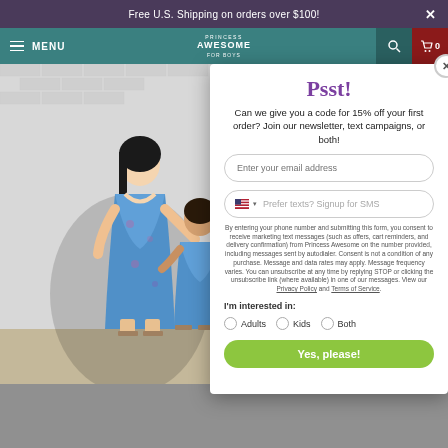Free U.S. Shipping on orders over $100!
MENU — Princess Awesome for Boys
[Figure (photo): Photo of a woman and young girl wearing matching blue floral dresses, standing against a white brick wall]
Psst!
Can we give you a code for 15% off your first order? Join our newsletter, text campaigns, or both!
Enter your email address
Prefer texts? Signup for SMS
By entering your phone number and submitting this form, you consent to receive marketing text messages (such as offers, cart reminders, and delivery confirmation) from Princess Awesome on the number provided, including messages sent by autodialer. Consent is not a condition of any purchase. Message and data rates may apply. Message frequency varies. You can unsubscribe at any time by replying STOP or clicking the unsubscribe link (where available) in one of our messages. View our Privacy Policy and Terms of Service.
I'm interested in:
Adults
Kids
Both
Yes, please!